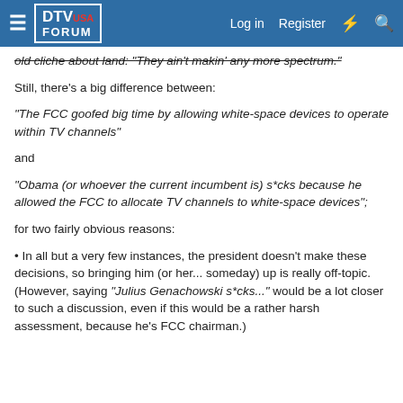DTV USA FORUM | Log in | Register
old cliche about land: "They ain't makin' any more spectrum."
Still, there's a big difference between:
"The FCC goofed big time by allowing white-space devices to operate within TV channels"
and
"Obama (or whoever the current incumbent is) s*cks because he allowed the FCC to allocate TV channels to white-space devices";
for two fairly obvious reasons:
• In all but a very few instances, the president doesn't make these decisions, so bringing him (or her... someday) up is really off-topic. (However, saying "Julius Genachowski s*cks..." would be a lot closer to such a discussion, even if this would be a rather harsh assessment, because he's FCC chairman.)